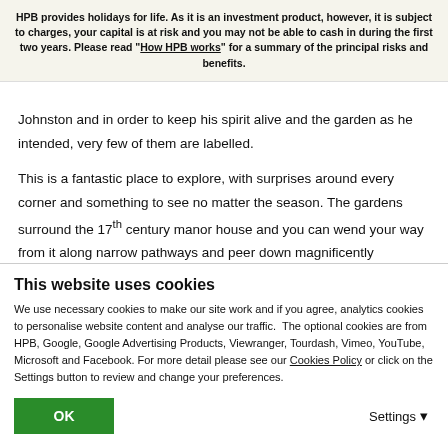HPB provides holidays for life. As it is an investment product, however, it is subject to charges, your capital is at risk and you may not be able to cash in during the first two years. Please read "How HPB works" for a summary of the principal risks and benefits.
Johnston and in order to keep his spirit alive and the garden as he intended, very few of them are labelled.
This is a fantastic place to explore, with surprises around every corner and something to see no matter the season. The gardens surround the 17th century manor house and you can wend your way from it along narrow pathways and peer down magnificently
This website uses cookies
We use necessary cookies to make our site work and if you agree, analytics cookies to personalise website content and analyse our traffic.  The optional cookies are from HPB, Google, Google Advertising Products, Viewranger, Tourdash, Vimeo, YouTube, Microsoft and Facebook. For more detail please see our Cookies Policy or click on the Settings button to review and change your preferences.